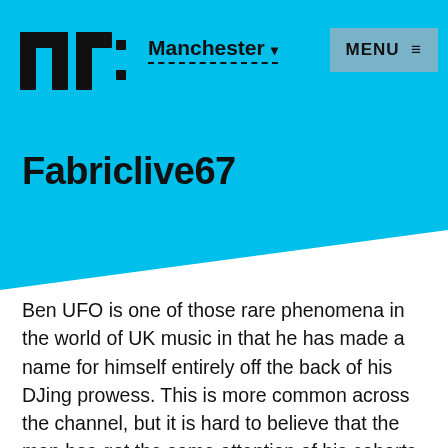Manchester MENU
Fabriclive67
Ben UFO is one of those rare phenomena in the world of UK music in that he has made a name for himself entirely off the back of his DJing prowess. This is more common across the channel, but it is hard to believe that the man has got the same attention of his cohorts Ramadanman/Pearson Sound and Pangaea in the UK without ever releasing a track. This is in large part due to the fact that he is very, very good at mixing, and his style is edgy and exciting to hear.